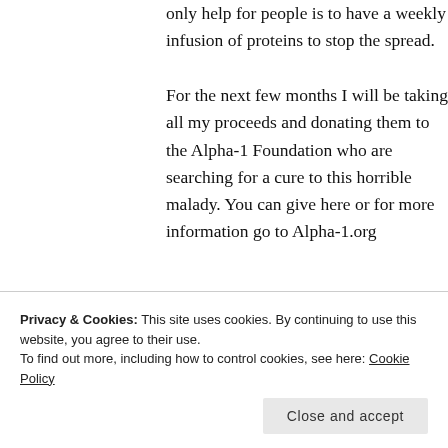only help for people is to have a weekly infusion of proteins to stop the spread.
For the next few months I will be taking all my proceeds and donating them to the Alpha-1 Foundation who are searching for a cure to this horrible malady. You can give here or for more information go to Alpha-1.org
On
Privacy & Cookies: This site uses cookies. By continuing to use this website, you agree to their use.
To find out more, including how to control cookies, see here: Cookie Policy